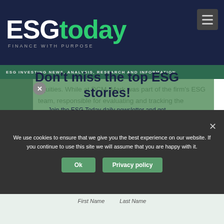[Figure (logo): ESGtoday logo with tagline FINANCE WITH PURPOSE on dark navy background]
ESG INVESTING NEWS, ANALYSIS, RESEARCH AND INFORMATION
equities. While at DCM, Mark was part of the firm's ESG team, responsible for evaluating and tracking the sustainability factors impacting portfolio companies, and assessing the suitability of companies for portfolio inclusion. Mark also spent several years in the sell-side research industry, covering the
Don't miss the top ESG stories!
Join the ESG Today daily newsletter and get all the top ESG stories, like this one.
We use cookies to ensure that we give you the best experience on our website. If you continue to use this site we will assume that you are happy with it.
Ok   Privacy policy
First Name    Last Name